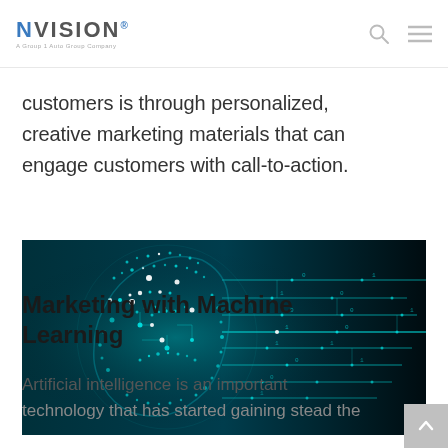NVISION — A Group 1 Automotive Company
customers is through personalized, creative marketing materials that can engage customers with call-to-action.
[Figure (illustration): A glowing digital human face profile made of circuit board patterns and dots on a dark teal/black background, with horizontal data stream lines extending from the right side of the face suggesting AI or machine learning concept.]
Marketing with Machine Learning
Artificial intelligence is an important technology that has started gaining stead the